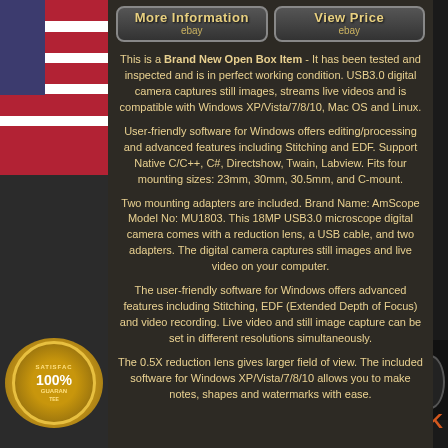[Figure (infographic): US flag and satisfaction guarantee badge on left decorative strip]
More Information
ebay
View Price
ebay
This is a Brand New Open Box Item - It has been tested and inspected and is in perfect working condition. USB3.0 digital camera captures still images, streams live videos and is compatible with Windows XP/Vista/7/8/10, Mac OS and Linux.
User-friendly software for Windows offers editing/processing and advanced features including Stitching and EDF. Support Native C/C++, C#, Directshow, Twain, Labview. Fits four mounting sizes: 23mm, 30mm, 30.5mm, and C-mount.
Two mounting adapters are included. Brand Name: AmScope Model No: MU1803. This 18MP USB3.0 microscope digital camera comes with a reduction lens, a USB cable, and two adapters. The digital camera captures still images and live video on your computer.
The user-friendly software for Windows offers advanced features including Stitching, EDF (Extended Depth of Focus) and video recording. Live video and still image capture can be set in different resolutions simultaneously.
The 0.5X reduction lens gives larger field of view. The included software for Windows XP/Vista/7/8/10 allows you to make notes, shapes and watermarks with ease.